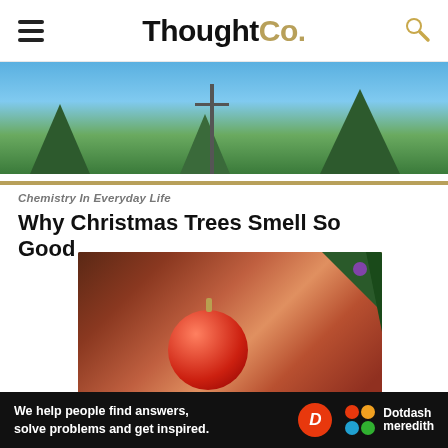ThoughtCo.
[Figure (photo): Outdoor photo with trees and blue sky, viewed from below]
Chemistry In Everyday Life
Why Christmas Trees Smell So Good
[Figure (photo): Close-up of a child smelling a red Christmas ornament near pine tree branches]
Ad
We help people find answers, solve problems and get inspired. Dotdash meredith